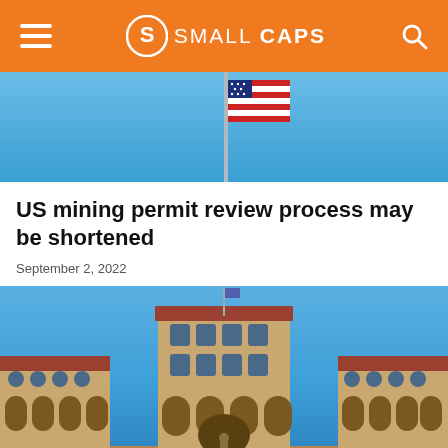SMALL CAPS
[Figure (photo): Top cropped photo showing a blue sky with a flagpole and partial flag visible]
US mining permit review process may be shortened
September 2, 2022
[Figure (photo): Photo of a large historic stone building with arched colonnades, red tile roof, and a statue in the foreground courtyard, under a clear blue sky]